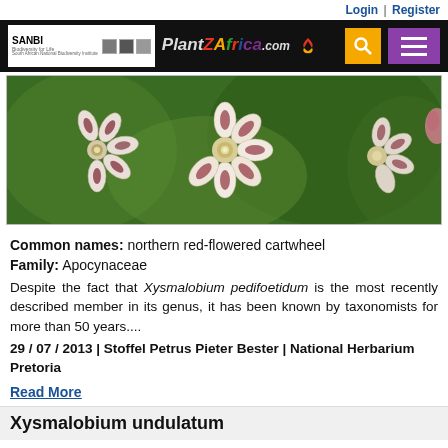Login | Register
[Figure (logo): SANBI and PlantZAfrica.com navigation header with search and menu buttons]
[Figure (photo): Close-up photograph of Xysmalobium pedifoetidum flowers — white petals with dark red/maroon markings, against green bokeh background]
Common names: northern red-flowered cartwheel
Family: Apocynaceae
Despite the fact that Xysmalobium pedifoetidum is the most recently described member in its genus, it has been known by taxonomists for more than 50 years....
29 / 07 / 2013 | Stoffel Petrus Pieter Bester | National Herbarium Pretoria
Read More
Xysmalobium undulatum